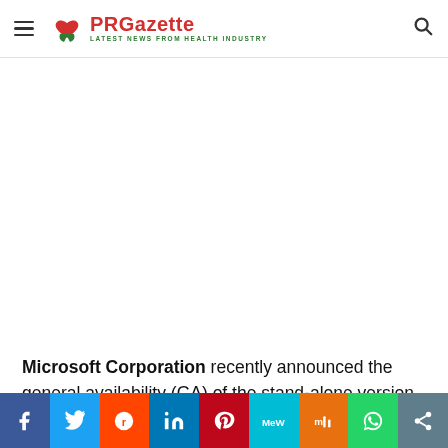PRGazette — LATEST NEWS FROM HEALTH INDUSTRY
[Figure (other): Empty white advertisement/content area]
Microsoft Corporation recently announced the general availability (GA) of the stand-alone version of Microsoft Defender for Business. Defender for Business brings
[Figure (other): Social sharing bar with icons: Facebook, Twitter, Reddit, LinkedIn, Pinterest, MeWe, Mix, WhatsApp, Share]